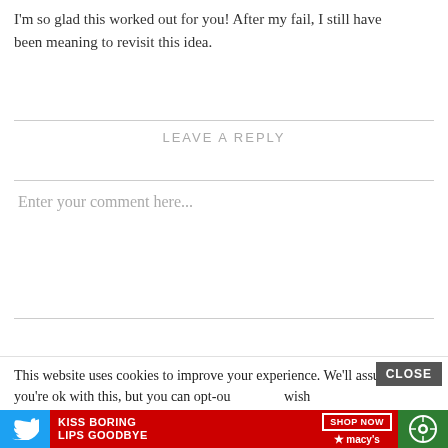I'm so glad this worked out for you! After my fail, I still have been meaning to revisit this idea.
LEAVE A REPLY
Enter your comment here...
This website uses cookies to improve your experience. We'll assume you're ok with this, but you can opt-ou  wish
[Figure (screenshot): Bottom ad bar with Twitter icon on left, Macy's advertisement in center reading KISS BORING LIPS GOODBYE with SHOP NOW button and Macy's logo, and a circular menu icon on green background on right]